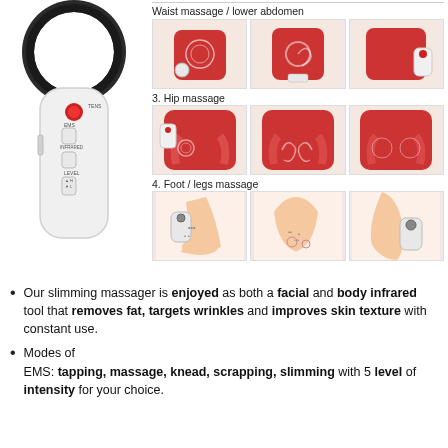[Figure (photo): White handheld slimming massager device with ring attachment on top, red indicator light, and control buttons (EMS, infrared, level settings) on the body]
Waist massage / lower abdomen
[Figure (photo): Three images showing waist/lower abdomen massage technique using the device]
3. Hip massage
[Figure (photo): Three images showing hip massage technique using the device on red shorts/bottom area]
4. Foot / legs massage
[Figure (photo): Three images showing foot and leg massage technique using the device]
Our slimming massager is enjoyed as both a facial and body infrared tool that removes fat, targets wrinkles and improves skin texture with constant use.
Modes of EMS: tapping, massage, knead, scrapping, slimming with 5 level of intensity for your choice.